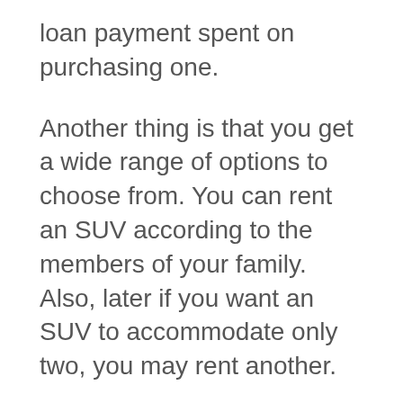loan payment spent on purchasing one.
Another thing is that you get a wide range of options to choose from. You can rent an SUV according to the members of your family. Also, later if you want an SUV to accommodate only two, you may rent another.
So, why not pay less to fulfill your needs. Car rental websites like OneClickDrive seamlessly deliver your sparkling, well-serviced SUV to your location across Dubai. SUVs are the